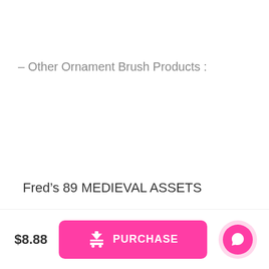– Other Ornament Brush Products :
Fred's 89 MEDIEVAL ASSETS
$8.88
PURCHASE